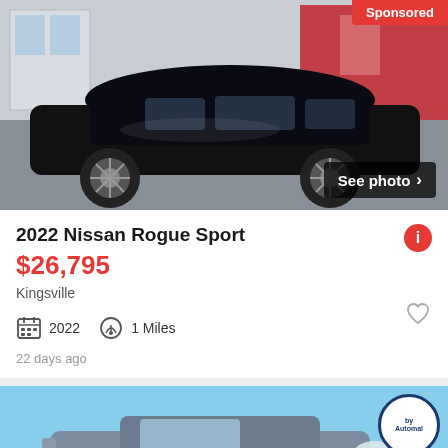[Figure (photo): Black 2022 Nissan Rogue Sport SUV shown from the side in a dealership parking lot. Sponsored badge in top-right corner. 'See photo >' button overlay at bottom right.]
2022 Nissan Rogue Sport
$26,795
Kingsville
2022   1 Miles
22 days ago
[Figure (photo): Gray SUV (Nissan Rogue Sport) shown from the front-left, outdoors on grass. A circular watermark logo visible top-right. 'See photo >' button overlay at bottom right.]